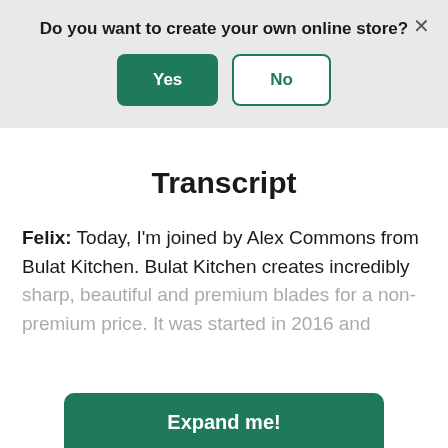Do you want to create your own online store?
[Figure (screenshot): Dialog bar with Yes and No buttons and a close X button]
Transcript
Felix: Today, I'm joined by Alex Commons from Bulat Kitchen. Bulat Kitchen creates incredibly sharp, beautiful and premium blades for a non-premium price. It was started in 2016 and
Expand me!